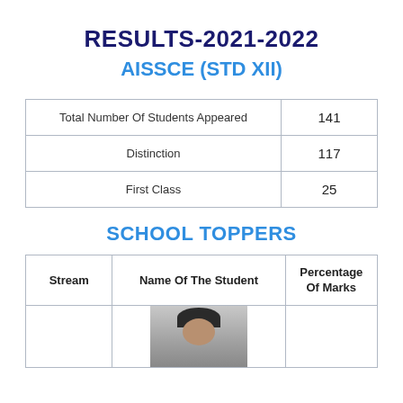RESULTS-2021-2022
AISSCE (STD XII)
|  |  |
| --- | --- |
| Total Number Of Students Appeared | 141 |
| Distinction | 117 |
| First Class | 25 |
SCHOOL TOPPERS
| Stream | Name Of The Student | Percentage
Of Marks |
| --- | --- | --- |
|  | [photo] |  |